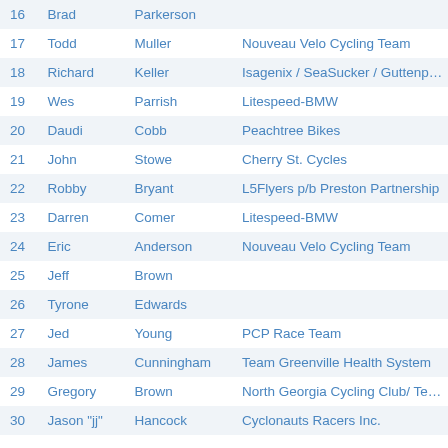| # | First | Last | Team |
| --- | --- | --- | --- |
| 16 | Brad | Parkerson |  |
| 17 | Todd | Muller | Nouveau Velo Cycling Team |
| 18 | Richard | Keller | Isagenix / SeaSucker / Guttenplan C |
| 19 | Wes | Parrish | Litespeed-BMW |
| 20 | Daudi | Cobb | Peachtree Bikes |
| 21 | John | Stowe | Cherry St. Cycles |
| 22 | Robby | Bryant | L5Flyers p/b Preston Partnership |
| 23 | Darren | Comer | Litespeed-BMW |
| 24 | Eric | Anderson | Nouveau Velo Cycling Team |
| 25 | Jeff | Brown |  |
| 26 | Tyrone | Edwards |  |
| 27 | Jed | Young | PCP Race Team |
| 28 | James | Cunningham | Team Greenville Health System |
| 29 | Gregory | Brown | North Georgia Cycling Club/ Team Pr |
| 30 | Jason "jj" | Hancock | Cyclonauts Racers Inc. |